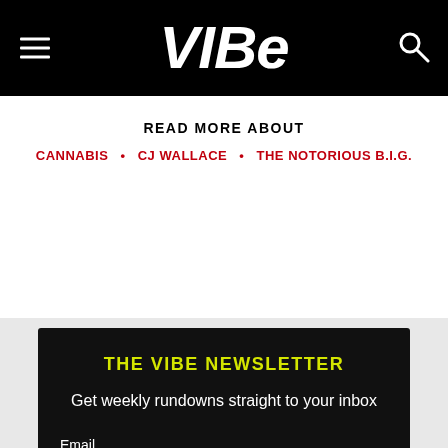VIBE
READ MORE ABOUT
CANNABIS • CJ WALLACE • THE NOTORIOUS B.I.G.
THE VIBE NEWSLETTER
Get weekly rundowns straight to your inbox
Email
SUBSCRIBE →